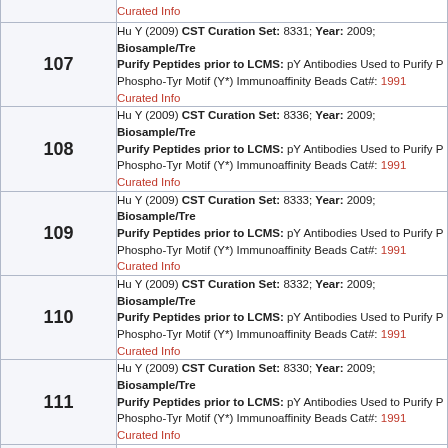| # | Curated Info |
| --- | --- |
| 107 | Hu Y (2009) CST Curation Set: 8331; Year: 2009; Biosample/Tre... Purify Peptides prior to LCMS: pY Antibodies Used to Purify P... Phospho-Tyr Motif (Y*) Immunoaffinity Beads Cat#: 1991 Curated Info |
| 108 | Hu Y (2009) CST Curation Set: 8336; Year: 2009; Biosample/Tre... Purify Peptides prior to LCMS: pY Antibodies Used to Purify P... Phospho-Tyr Motif (Y*) Immunoaffinity Beads Cat#: 1991 Curated Info |
| 109 | Hu Y (2009) CST Curation Set: 8333; Year: 2009; Biosample/Tre... Purify Peptides prior to LCMS: pY Antibodies Used to Purify P... Phospho-Tyr Motif (Y*) Immunoaffinity Beads Cat#: 1991 Curated Info |
| 110 | Hu Y (2009) CST Curation Set: 8332; Year: 2009; Biosample/Tre... Purify Peptides prior to LCMS: pY Antibodies Used to Purify P... Phospho-Tyr Motif (Y*) Immunoaffinity Beads Cat#: 1991 Curated Info |
| 111 | Hu Y (2009) CST Curation Set: 8330; Year: 2009; Biosample/Tre... Purify Peptides prior to LCMS: pY Antibodies Used to Purify P... Phospho-Tyr Motif (Y*) Immunoaffinity Beads Cat#: 1991 Curated Info |
| 112 | Hu Y (2009) CST Curation Set: 8334; Year: 2009; Biosample/Tre... Purify Peptides prior to LCMS: pY Antibodies Used to Purify P... Phospho-Tyr Motif (Y*) Immunoaffinity Beads Cat#: 1991 Curated Info |
| 113 | Hu Y (2009) CST Curation Set: 8320; Year: 2009; Biosample/Tre... Purify Peptides prior to LCMS: pY Antibodies Used to Purify P... |